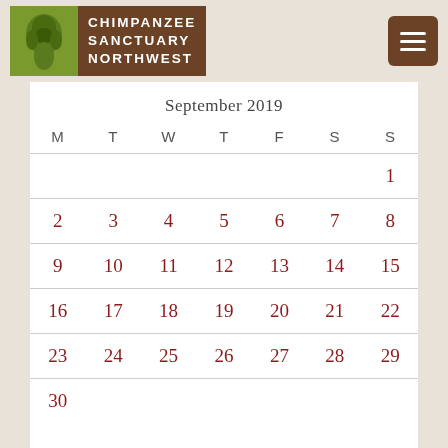Chimpanzee Sanctuary Northwest logo and navigation menu
September 2019
| M | T | W | T | F | S | S |
| --- | --- | --- | --- | --- | --- | --- |
|  |  |  |  |  |  | 1 |
| 2 | 3 | 4 | 5 | 6 | 7 | 8 |
| 9 | 10 | 11 | 12 | 13 | 14 | 15 |
| 16 | 17 | 18 | 19 | 20 | 21 | 22 |
| 23 | 24 | 25 | 26 | 27 | 28 | 29 |
| 30 |  |  |  |  |  |  |